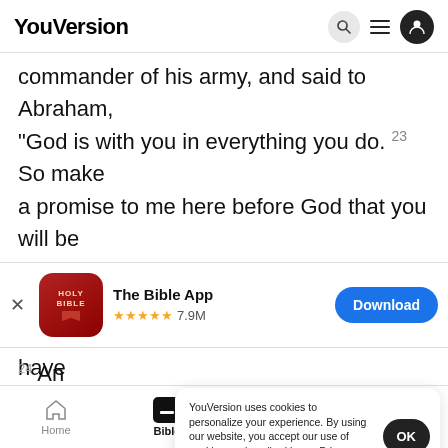YouVersion
commander of his army, and said to Abraham, “God is with you in everything you do. 23 So make a promise to me here before God that you will be fair with me and my children and my descendants. Be kind to me and to this land where you have
[Figure (screenshot): App store banner showing The Bible App (Holy Bible icon), 5 stars, 7.9M ratings, with a Download button]
24 An
Abraha
YouVersion uses cookies to personalize your experience. By using our website, you accept our use of cookies as described in our Privacy Policy.
Home  Bible  Plans  Videos